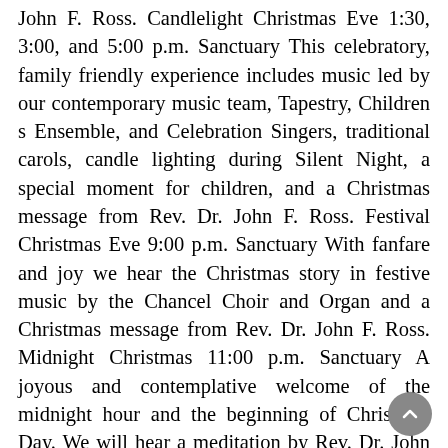John F. Ross. Candlelight Christmas Eve 1:30, 3:00, and 5:00 p.m. Sanctuary This celebratory, family friendly experience includes music led by our contemporary music team, Tapestry, Children s Ensemble, and Celebration Singers, traditional carols, candle lighting during Silent Night, a special moment for children, and a Christmas message from Rev. Dr. John F. Ross. Festival Christmas Eve 9:00 p.m. Sanctuary With fanfare and joy we hear the Christmas story in festive music by the Chancel Choir and Organ and a Christmas message from Rev. Dr. John F. Ross. Midnight Christmas 11:00 p.m. Sanctuary A joyous and contemplative welcome of the midnight hour and the beginning of Christmas Day. We will hear a meditation by Rev. Dr. John F. Ross Christmas Day Worship 10:00 a.m. Come as you are on Christmas morning for warm, welcoming, and joyous Christmas Day worship. Hear Lindy Purdy s heartwarming story, uplifting music, and celebrate baptisms. Join in a Christmas carol sing-along, followed by Christmas cookies in Colonnade. The Sunday After - New Year s Eve Day 8:00 a.m. - 9:00 a.m. - 10:45 a.m. Join us for The Sunday After with special music guests, The Peterson Family! Rev. Rustin Comer will preach on ONE Word for What if instead of resolutions, our hopes for the year